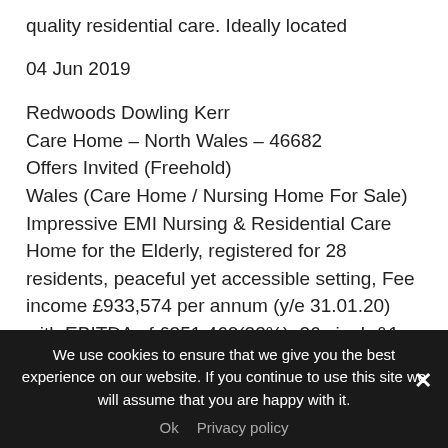quality residential care. Ideally located
04 Jun 2019
Redwoods Dowling Kerr
Care Home – North Wales – 46682
Offers Invited (Freehold)
Wales (Care Home / Nursing Home For Sale)
Impressive EMI Nursing & Residential Care Home for the Elderly, registered for 28 residents, peaceful yet accessible setting, Fee income £933,574 per annum (y/e 31.01.20) with EBITDA of £251,460(23%), 26 single&1 twin room (17
We use cookies to ensure that we give you the best experience on our website. If you continue to use this site we will assume that you are happy with it.
Ok   Privacy policy